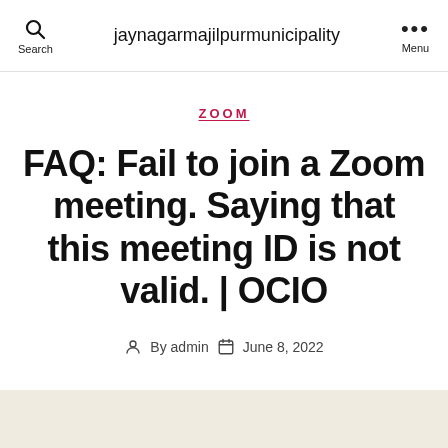jaynagarmajilpurmunicipality  Search  Menu
ZOOM
FAQ: Fail to join a Zoom meeting. Saying that this meeting ID is not valid. | OCIO
By admin  June 8, 2022